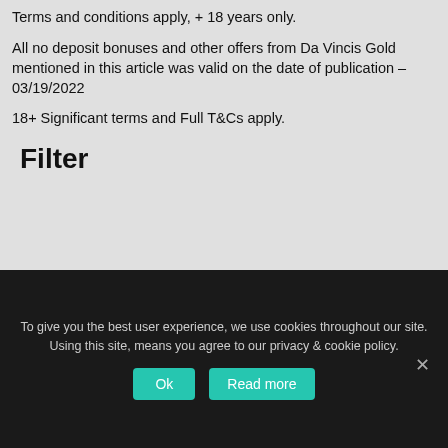Terms and conditions apply, + 18 years only.
All no deposit bonuses and other offers from Da Vincis Gold mentioned in this article was valid on the date of publication – 03/19/2022
18+ Significant terms and Full T&Cs apply.
Filter
Privacy Policy   Terms & Conditions
To give you the best user experience, we use cookies throughout our site. Using this site, means you agree to our privacy & cookie policy.
Ok   Read more